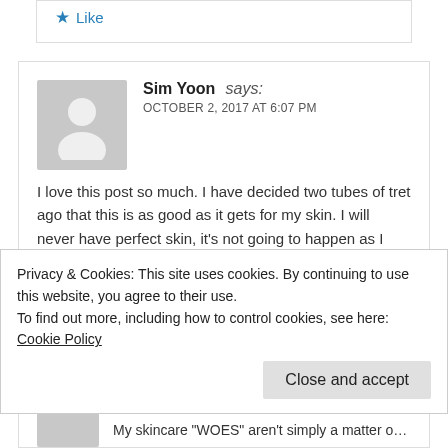Love you Fiddy. xo
★ Like
Sim Yoon says:
OCTOBER 2, 2017 AT 6:07 PM
I love this post so much. I have decided two tubes of tret ago that this is as good as it gets for my skin. I will never have perfect skin, it's not going to happen as I age. I continue to stay interested and educated and do the best I can. Your blog has been a great resource. Thank you.
★ Like
Privacy & Cookies: This site uses cookies. By continuing to use this website, you agree to their use.
To find out more, including how to control cookies, see here: Cookie Policy
Close and accept
My skincare "WOES" aren't simply a matter of not